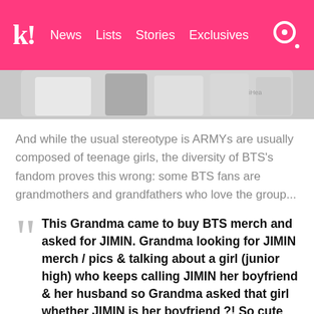k! News Lists Stories Exclusives
[Figure (photo): A cropped photo strip showing people in white shirts at what appears to be an event with iHeart branding visible]
And while the usual stereotype is ARMYs are usually composed of teenage girls, the diversity of BTS's fandom proves this wrong: some BTS fans are grandmothers and grandfathers who love the group...
This Grandma came to buy BTS merch and asked for JIMIN. Grandma looking for JIMIN merch / pics & talking about a girl (junior high) who keeps calling JIMIN her boyfriend & her husband so Grandma asked that girl whether JIMIN is her boyfriend ?! So cute 🙂